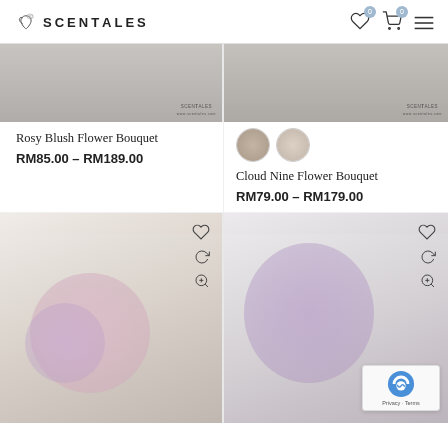SCENTALES
[Figure (photo): Rosy Blush Flower Bouquet product image with SCENTALES watermark]
[Figure (photo): Cloud Nine Flower Bouquet product image with SCENTALES watermark and circular thumbnails]
Rosy Blush Flower Bouquet
RM85.00 – RM189.00
Cloud Nine Flower Bouquet
RM79.00 – RM179.00
[Figure (photo): Flower bouquet with pink and purple roses in white wrapping]
[Figure (photo): Purple flower bouquet in grey wrapping with bow]